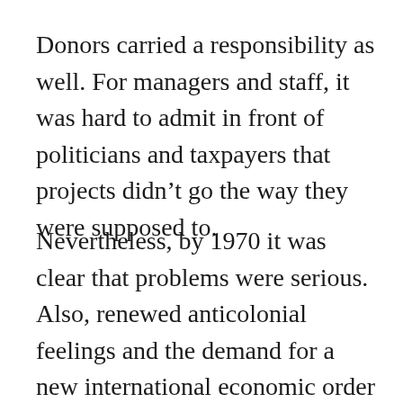Donors carried a responsibility as well. For managers and staff, it was hard to admit in front of politicians and taxpayers that projects didn't go the way they were supposed to.
Nevertheless, by 1970 it was clear that problems were serious. Also, renewed anticolonial feelings and the demand for a new international economic order generated pressure on the aid